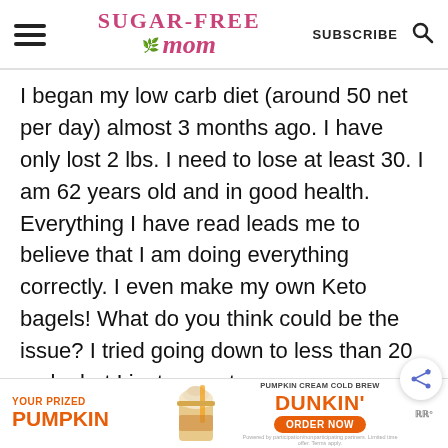[Figure (logo): Sugar-Free Mom website logo with pink script text and green leaf accent]
I began my low carb diet (around 50 net per day) almost 3 months ago. I have only lost 2 lbs. I need to lose at least 30. I am 62 years old and in good health. Everything I have read leads me to believe that I am doing everything correctly. I even make my own Keto bagels! What do you think could be the issue? I tried going down to less than 20 carbs but I just cannot
[Figure (infographic): Dunkin' Pumpkin Cream Cold Brew advertisement banner with orange text and drink image]